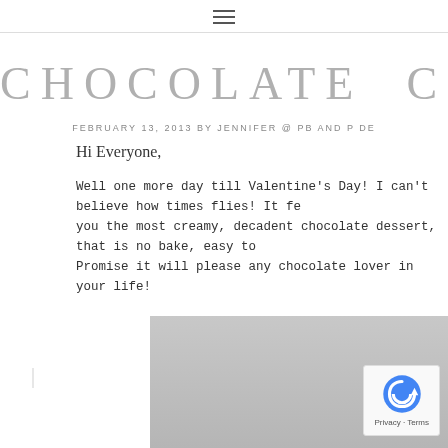hamburger menu icon
CHOCOLATE COCON
FEBRUARY 13, 2013 BY JENNIFER @ PB AND P DE
Hi Everyone,
Well one more day till Valentine's Day! I can't believe how times flies! It fe you the most creamy, decadent chocolate dessert, that is no bake, easy to Promise it will please any chocolate lover in your life!
[Figure (photo): Partial view of a food photo with red element at bottom, on gray background. reCAPTCHA badge visible bottom right.]